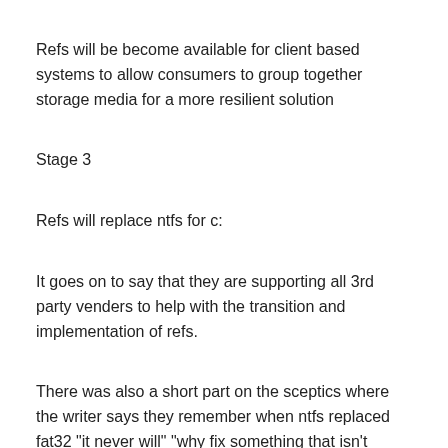Refs will be become available for client based systems to allow consumers to group together storage media for a more resilient solution
Stage 3
Refs will replace ntfs for c:
It goes on to say that they are supporting all 3rd party venders to help with the transition and implementation of refs.
There was also a short part on the sceptics where the writer says they remember when ntfs replaced fat32 "it never will" "why fix something that isn't broke" "it's not as good fat32".